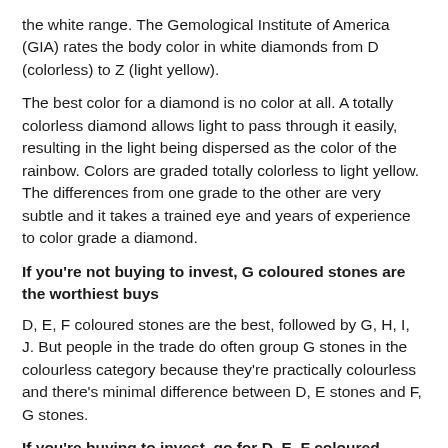the white range. The Gemological Institute of America (GIA) rates the body color in white diamonds from D (colorless) to Z (light yellow).
The best color for a diamond is no color at all. A totally colorless diamond allows light to pass through it easily, resulting in the light being dispersed as the color of the rainbow. Colors are graded totally colorless to light yellow. The differences from one grade to the other are very subtle and it takes a trained eye and years of experience to color grade a diamond.
If you're not buying to invest, G coloured stones are the worthiest buys
D, E, F coloured stones are the best, followed by G, H, I, J. But people in the trade do often group G stones in the colourless category because they're practically colourless and there's minimal difference between D, E stones and F, G stones.
If you're buying to invest, go for D, E, F coloured stones
But if you're getting a stone as an investment, then it